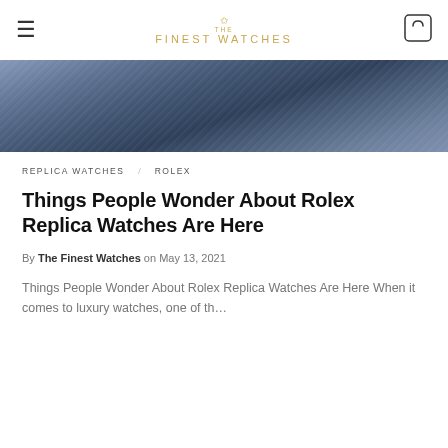THE FINEST WATCHES
[Figure (photo): Close-up photo of a luxury watch with blue/dark textile or metal background]
REPLICA WATCHES   ROLEX
Things People Wonder About Rolex Replica Watches Are Here
By The Finest Watches on May 13, 2021
Things People Wonder About Rolex Replica Watches Are Here When it comes to luxury watches, one of th…